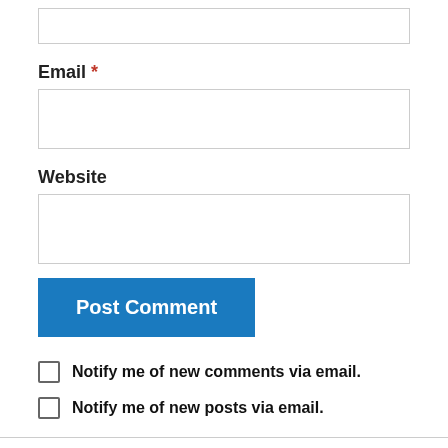[Figure (screenshot): Empty input text box (top of page, partially visible)]
Email *
[Figure (screenshot): Empty email input text box]
Website
[Figure (screenshot): Empty website input text box]
[Figure (screenshot): Post Comment button (blue)]
Notify me of new comments via email.
Notify me of new posts via email.
Edgar Fernandez on August 15, 2014 at 3:00 pm